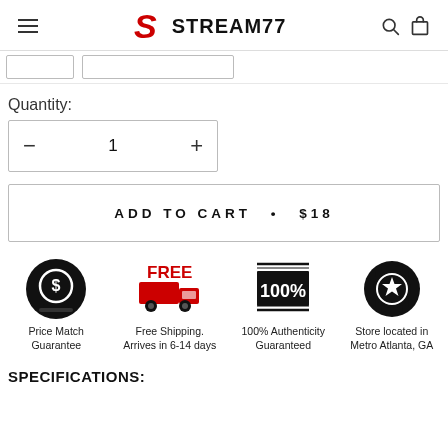Stream77 — navigation header with logo, menu, search, and cart icons
[Figure (screenshot): Partial product option buttons (truncated at top)]
Quantity:
[Figure (other): Quantity selector showing minus button, 1, plus button in a bordered box]
ADD TO CART • $18
[Figure (infographic): Four trust badges: Price Match Guarantee, Free Shipping Arrives in 6-14 days, 100% Authenticity Guaranteed, Store located in Metro Atlanta GA]
SPECIFICATIONS: